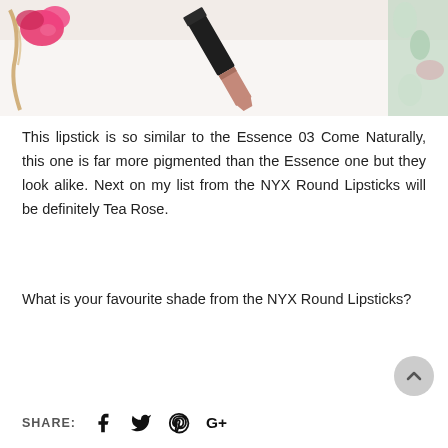[Figure (photo): Flat lay photo of a lipstick with a black cap partially open showing a nude/mauve lipstick bullet, alongside a pink flower, a rope/twine accessory, and a floral fabric, on a white background.]
This lipstick is so similar to the Essence 03 Come Naturally, this one is far more pigmented than the Essence one but they look alike. Next on my list from the NYX Round Lipsticks will be definitely Tea Rose.
What is your favourite shade from the NYX Round Lipsticks?
SHARE: